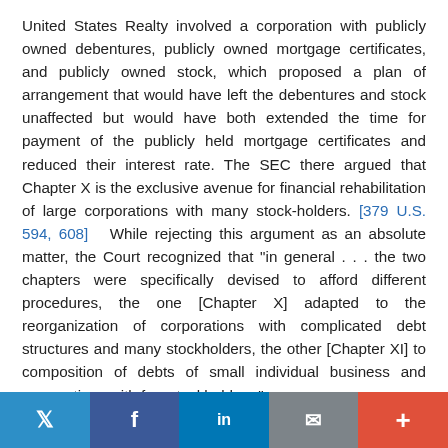United States Realty involved a corporation with publicly owned debentures, publicly owned mortgage certificates, and publicly owned stock, which proposed a plan of arrangement that would have left the debentures and stock unaffected but would have both extended the time for payment of the publicly held mortgage certificates and reduced their interest rate. The SEC there argued that Chapter X is the exclusive avenue for financial rehabilitation of large corporations with many stock-holders. [379 U.S. 594, 608]   While rejecting this argument as an absolute matter, the Court recognized that "in general . . . the two chapters were specifically devised to afford different procedures, the one [Chapter X] adapted to the reorganization of corporations with complicated debt structures and many stockholders, the other [Chapter XI] to composition of debts of small individual business and corporations with few stockholders." 319 U.S. at 447. The Court then held that
Twitter | Facebook | LinkedIn | Email | +